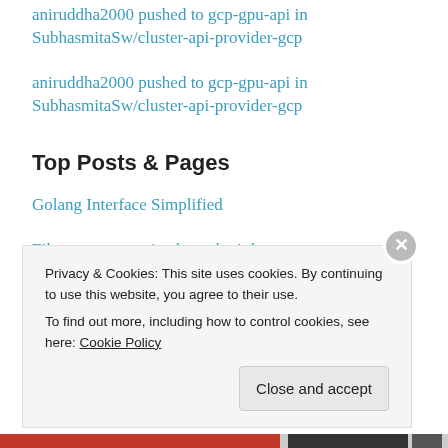aniruddha2000 pushed to gcp-gpu-api in SubhasmitaSw/cluster-api-provider-gcp
aniruddha2000 pushed to gcp-gpu-api in SubhasmitaSw/cluster-api-provider-gcp
Top Posts & Pages
Golang Interface Simplified
Filter your commits through git log
Giving my first talk in the Flatcar Community call
Privacy & Cookies: This site uses cookies. By continuing to use this website, you agree to their use.
To find out more, including how to control cookies, see here: Cookie Policy